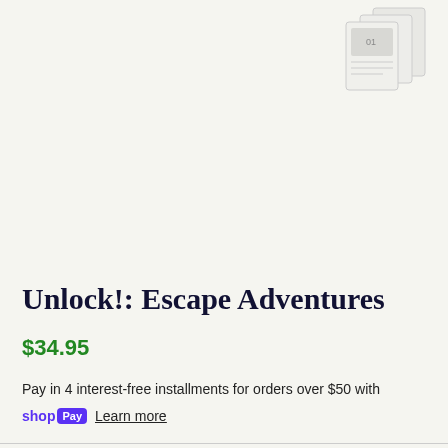[Figure (photo): Product image of Unlock! Escape Adventures board game boxes, shown in the upper right corner of the page, partially cropped]
Unlock!: Escape Adventures
$34.95
Pay in 4 interest-free installments for orders over $50 with
shop Pay  Learn more